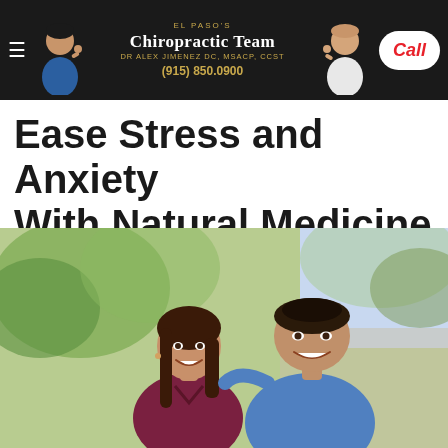El Paso's Chiropractic Team — Dr Alex Jimenez DC, MSACP, CCST — (915) 850.0900 — Call
Ease Stress and Anxiety With Natural Medicine
[Figure (photo): A smiling couple outdoors — a woman in a maroon top and a man in a blue t-shirt, with blurred green trees in the background]